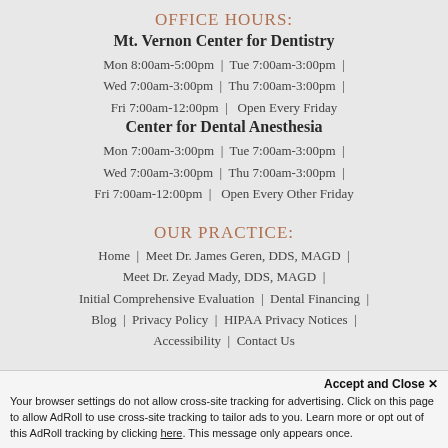OFFICE HOURS:
Mt. Vernon Center for Dentistry
Mon 8:00am-5:00pm  |  Tue 7:00am-3:00pm  |
Wed 7:00am-3:00pm  |  Thu 7:00am-3:00pm  |
Fri 7:00am-12:00pm  |  Open Every Friday
Center for Dental Anesthesia
Mon 7:00am-3:00pm  |  Tue 7:00am-3:00pm  |
Wed 7:00am-3:00pm  |  Thu 7:00am-3:00pm  |
Fri 7:00am-12:00pm  |  Open Every Other Friday
OUR PRACTICE:
Home  |  Meet Dr. James Geren, DDS, MAGD  |
Meet Dr. Zeyad Mady, DDS, MAGD  |
Initial Comprehensive Evaluation  |  Dental Financing  |
Blog  |  Privacy Policy  |  HIPAA Privacy Notices  |
Accessibility  |  Contact Us
Accept and Close ✕
Your browser settings do not allow cross-site tracking for advertising. Click on this page to allow AdRoll to use cross-site tracking to tailor ads to you. Learn more or opt out of this AdRoll tracking by clicking here. This message only appears once.